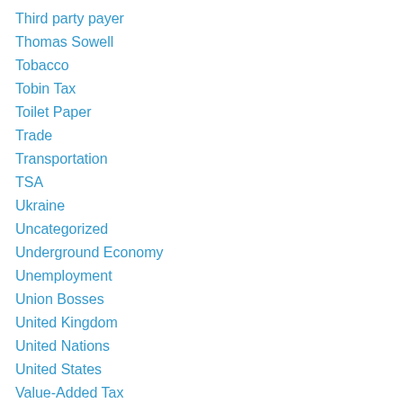Third party payer
Thomas Sowell
Tobacco
Tobin Tax
Toilet Paper
Trade
Transportation
TSA
Ukraine
Uncategorized
Underground Economy
Unemployment
Union Bosses
United Kingdom
United Nations
United States
Value-Added Tax
Vaping
VAT
Venezuela